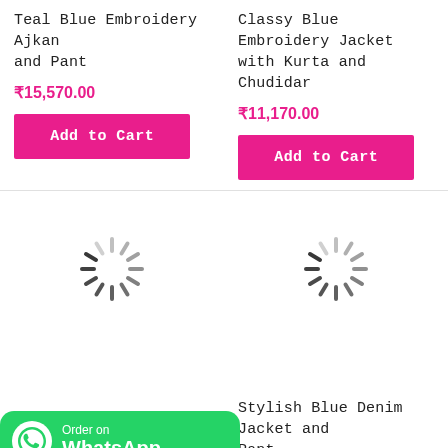Teal Blue Embroidery Ajkan and Pant
₹15,570.00
Add to Cart
Classy Blue Embroidery Jacket with Kurta and Chudidar
₹11,170.00
Add to Cart
[Figure (other): Loading spinner icon (rotating dashes circle)]
[Figure (other): Loading spinner icon (rotating dashes circle)]
[Figure (other): WhatsApp Order button banner with green background and WhatsApp logo]
Stylish Blue Denim Jacket and Pant